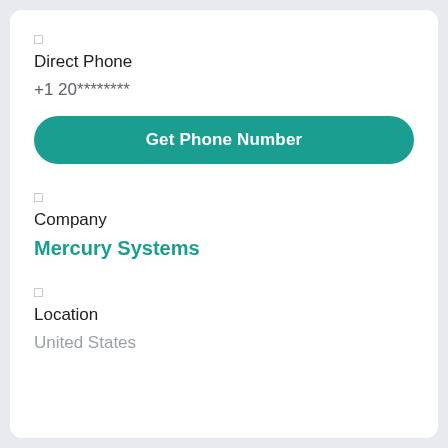□
Direct Phone
+1 20********
Get Phone Number
□
Company
Mercury Systems
□
Location
United States